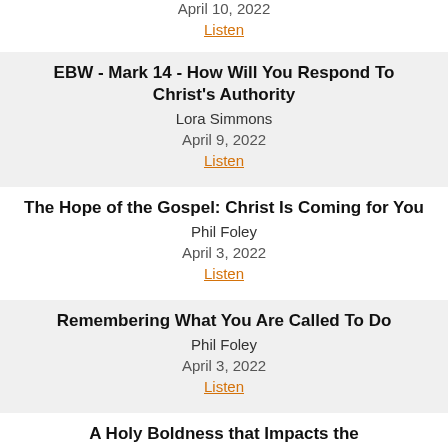April 10, 2022
Listen
EBW - Mark 14 - How Will You Respond To Christ's Authority
Lora Simmons
April 9, 2022
Listen
The Hope of the Gospel: Christ Is Coming for You
Phil Foley
April 3, 2022
Listen
Remembering What You Are Called To Do
Phil Foley
April 3, 2022
Listen
A Holy Boldness that Impacts the